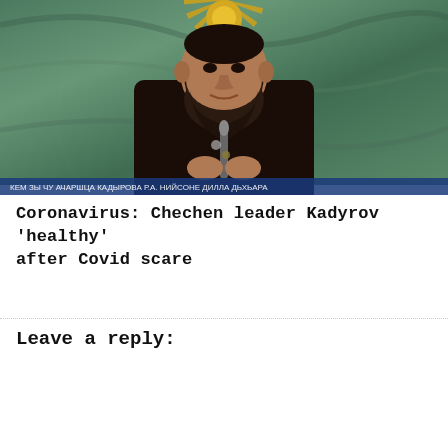[Figure (photo): A bearded man in a dark shirt sitting at a podium with a microphone, in front of a green marble wall with a golden sunburst emblem above. There is text in a foreign script on a blue banner at the bottom of the image.]
Coronavirus: Chechen leader Kadyrov 'healthy' after Covid scare
Leave a reply: